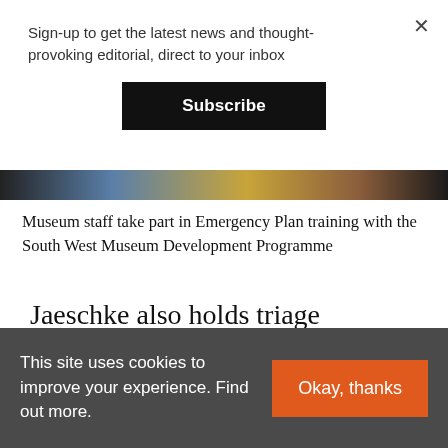Sign-up to get the latest news and thought-provoking editorial, direct to your inbox
Subscribe
[Figure (photo): Partial image strip showing museum staff at Emergency Plan training, with blue and warm-toned colors visible]
Museum staff take part in Emergency Plan training with the South West Museum Development Programme
Jaeschke also holds triage sessions for museums in the south west as a practical,
This site uses cookies to improve your experience. Find out more.
Okay, thanks